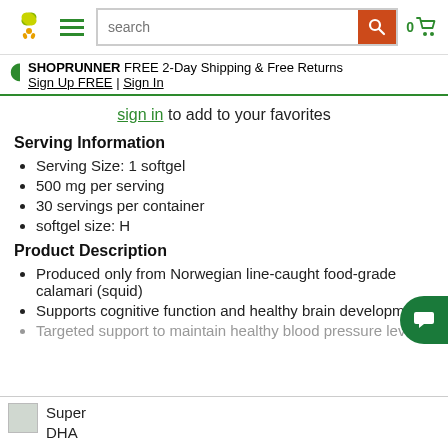Navigation bar with logo, menu, search, and cart
SHOPRUNNER FREE 2-Day Shipping & Free Returns
Sign Up FREE | Sign In
sign in to add to your favorites
Serving Information
Serving Size: 1 softgel
500 mg per serving
30 servings per container
softgel size: H
Product Description
Produced only from Norwegian line-caught food-grade calamari (squid)
Supports cognitive function and healthy brain development
Targeted support to maintain healthy blood pressure levels
Super
DHA